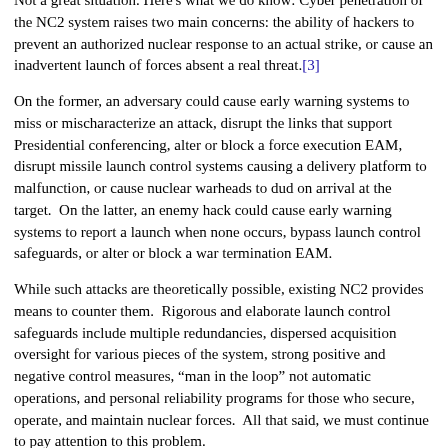Not a great situation. Here's what we do know: Cyber penetration of the NC2 system raises two main concerns: the ability of hackers to prevent an authorized nuclear response to an actual strike, or cause an inadvertent launch of forces absent a real threat.[3]
On the former, an adversary could cause early warning systems to miss or mischaracterize an attack, disrupt the links that support Presidential conferencing, alter or block a force execution EAM, disrupt missile launch control systems causing a delivery platform to malfunction, or cause nuclear warheads to dud on arrival at the target.  On the latter, an enemy hack could cause early warning systems to report a launch when none occurs, bypass launch control safeguards, or alter or block a war termination EAM.
While such attacks are theoretically possible, existing NC2 provides means to counter them.  Rigorous and elaborate launch control safeguards include multiple redundancies, dispersed acquisition oversight for various pieces of the system, strong positive and negative control measures, "man in the loop" not automatic operations, and personal reliability programs for those who secure, operate, and maintain nuclear forces.  All that said, we must continue to pay attention to this problem.
How do we assure cyber resilience of the NC2 system of the future?  One important idea is to replace a culture of "tell me what I need to buy for cyber resilience so I can be done with it" with a